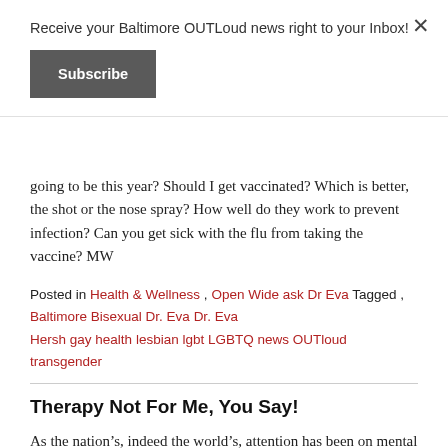Receive your Baltimore OUTLoud news right to your Inbox!
Subscribe
going to be this year? Should I get vaccinated? Which is better, the shot or the nose spray? How well do they work to prevent infection? Can you get sick with the flu from taking the vaccine? MW
Posted in Health & Wellness , Open Wide ask Dr Eva Tagged , Baltimore Bisexual Dr. Eva Dr. Eva Hersh gay health lesbian lgbt LGBTQ news OUTloud transgender
Therapy Not For Me, You Say!
As the nation's, indeed the world's, attention has been on mental health, I want to focus on just what therapy/counseling is. I often hear people say: "I haven't done this before; how does